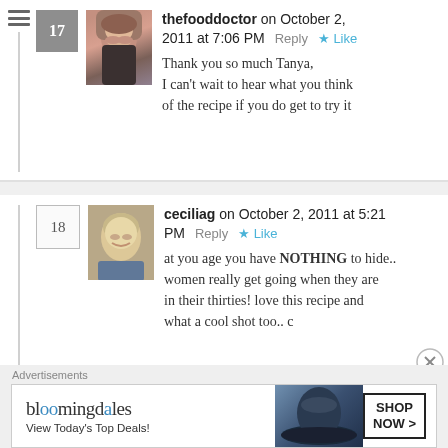thefooddoctor on October 2, 2011 at 7:06 PM  Reply  Like
Thank you so much Tanya,
I can't wait to hear what you think of the recipe if you do get to try it
ceciliag on October 2, 2011 at 5:21 PM  Reply  Like
at you age you have NOTHING to hide.. women really get going when they are in their thirties! love this recipe and what a cool shot too.. c
Advertisements
bloomingdales View Today's Top Deals!  SHOP NOW >